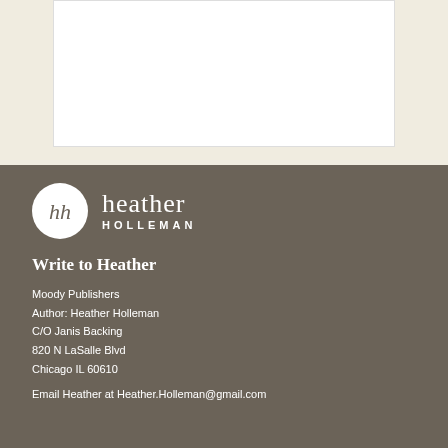[Figure (illustration): White rectangular box on a cream/beige background, representing a book cover or image placeholder area]
[Figure (logo): Heather Holleman logo: circular white badge with 'hh' monogram, next to text 'heather HOLLEMAN' in white on dark taupe background]
Write to Heather
Moody Publishers
Author: Heather Holleman
C/O Janis Backing
820 N LaSalle Blvd
Chicago IL 60610
Email Heather at Heather.Holleman@gmail.com